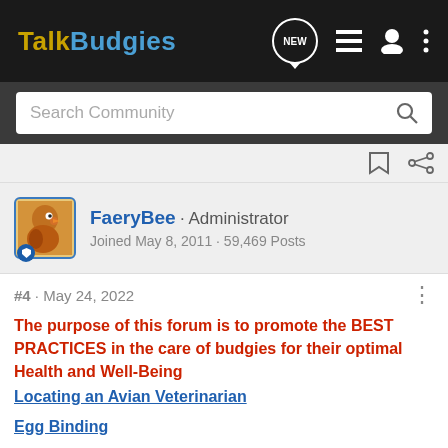TalkBudgies
[Figure (screenshot): Search Community input bar with magnifying glass icon]
[Figure (screenshot): Toolbar with bookmark and share icons]
[Figure (screenshot): User profile block: FaeryBee · Administrator, Joined May 8, 2011 · 59,469 Posts, with bird avatar]
#4 · May 24, 2022
The purpose of this forum is to promote the BEST PRACTICES in the care of budgies for their optimal Health and Well-Being
Locating an Avian Veterinarian
Egg Binding
I agree with Cody with regard to the bell. It needs to be